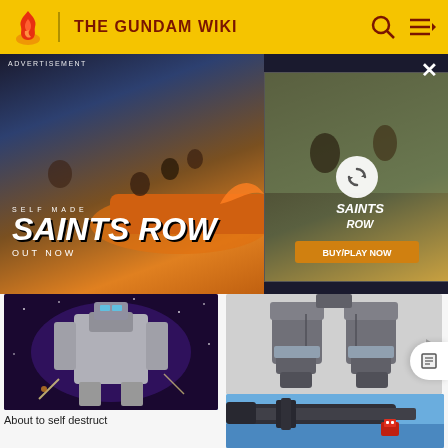THE GUNDAM WIKI
[Figure (screenshot): Saints Row video game advertisement banner with action scene. Left side shows 'SELF MADE / SAINTS ROW / OUT NOW' text over an orange car chase scene. Right side shows a smaller Saints Row ad panel with a circular refresh/loading icon.]
[Figure (illustration): Anime-style illustration of a Gundam mobile suit in space, appearing to self-destruct, set against a purple starry background.]
About to self destruct
[Figure (illustration): 3D rendered Gundam mobile suit legs/lower body in grey metallic finish, as seen in Mobile Suit Gundam: Battle Operation 2.]
As seen in Mobile Suit Gundam: Battle Operation 2
[Figure (photo): Photo of a Gundam model or mecha with a large weapon/cannon against a blue sky background.]